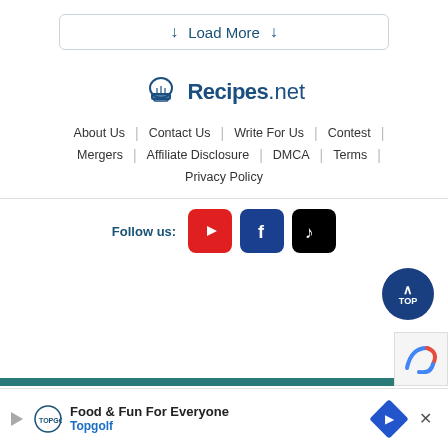[Figure (screenshot): Load More button with down arrows]
[Figure (logo): Recipes.net logo with chef hat icon]
About Us | Contact Us | Write For Us | Contest |
Mergers | Affiliate Disclosure | DMCA | Terms |
Privacy Policy
[Figure (screenshot): Follow us social media icons: YouTube, Facebook, TikTok]
Food & Fun For Everyone  Topgolf  ×